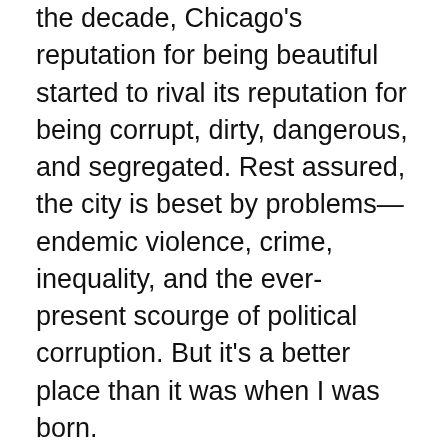the decade, Chicago's reputation for being beautiful started to rival its reputation for being corrupt, dirty, dangerous, and segregated. Rest assured, the city is beset by problems—endemic violence, crime, inequality, and the ever-present scourge of political corruption. But it's a better place than it was when I was born.
We stopped moving and I grew older in the same house; my parents still live on 5736 Blackstone. I got a driver's license, and drove up and down Lake Shore Drive, up and down the Kennedy Expressway. But my mobility only showed how alien my city was, full of neighborhoods that kept their secrets. There was no room for me in Pilsen's Polish-Mexican mix. I never felt at ease among the cool art students in Ukrainian Village. The vast west side was a hot-asphalt mystery to me. And even in my first, tentative explorations of Boystown, it seemed to me I had little in common with